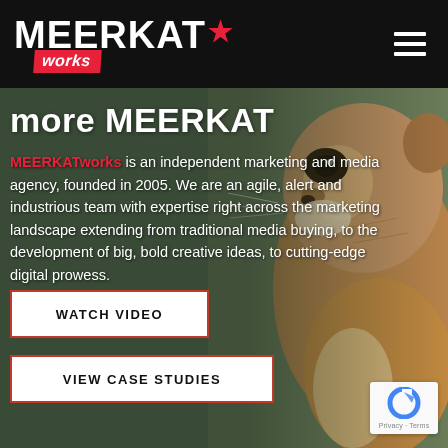MEERKAT works
more MEERKAT
MEERKATworks is an independent marketing and media agency, founded in 2005. We are an agile, alert and industrious team with expertise right across the marketing landscape extending from traditional media buying, to the development of big, bold creative ideas, to cutting-edge digital prowess.
[Figure (photo): Close-up photograph of a meerkat face from the side, fur visible against a blurred background]
WATCH VIDEO
VIEW CASE STUDIES
[Figure (logo): Google reCAPTCHA badge with privacy and terms links]